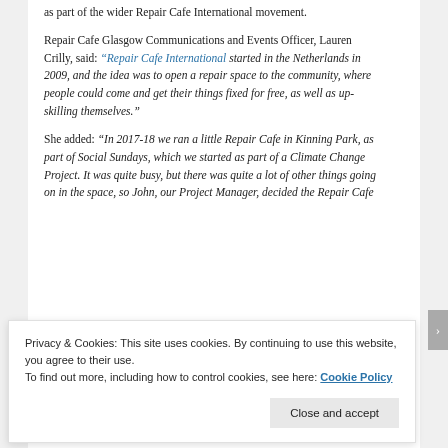as part of the wider Repair Cafe International movement.
Repair Cafe Glasgow Communications and Events Officer, Lauren Crilly, said: "Repair Cafe International started in the Netherlands in 2009, and the idea was to open a repair space to the community, where people could come and get their things fixed for free, as well as up-skilling themselves."
She added: "In 2017-18 we ran a little Repair Cafe in Kinning Park, as part of Social Sundays, which we started as part of a Climate Change Project. It was quite busy, but there was quite a lot of other things going on in the space, so John, our Project Manager, decided the Repair Cafe
Privacy & Cookies: This site uses cookies. By continuing to use this website, you agree to their use.
To find out more, including how to control cookies, see here: Cookie Policy